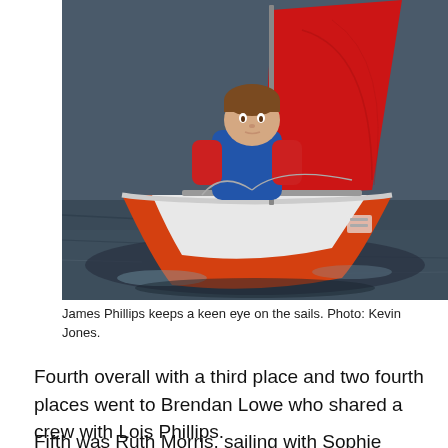[Figure (photo): A young boy in a red jacket and blue life vest looks up at the red sail of a small orange/red sailboat on dark water. The boat has a white interior and the boy is seated holding lines.]
James Phillips keeps a keen eye on the sails. Photo: Kevin Jones.
Fourth overall with a third place and two fourth places went to Brendan Lowe who shared a crew with Lois Phillips.
Fifth was Ruth Morris, sailing with Sophie Morris